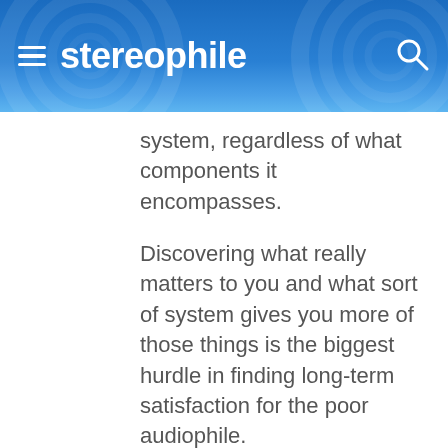stereophile
system, regardless of what components it encompasses.
Discovering what really matters to you and what sort of system gives you more of those things is the biggest hurdle in finding long-term satisfaction for the poor audiophile.
The merry-go-round really does have an exit point...at least until the next best thing appears and enough time has